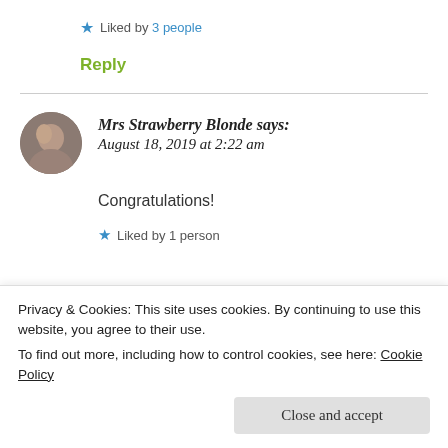★ Liked by 3 people
Reply
Mrs Strawberry Blonde says: August 18, 2019 at 2:22 am
Congratulations!
★ Liked by 1 person
Privacy & Cookies: This site uses cookies. By continuing to use this website, you agree to their use.
To find out more, including how to control cookies, see here: Cookie Policy
Close and accept
August 18, 2019 at 5:43 pm